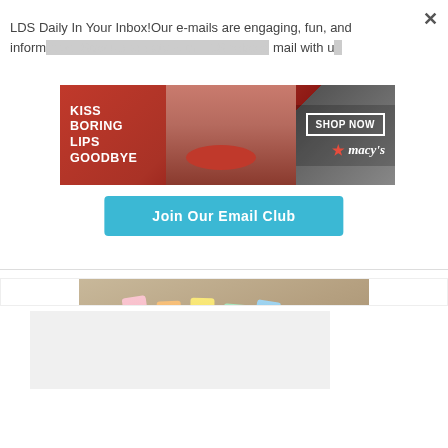LDS Daily In Your Inbox!Our e-mails are engaging, fun, and informative. Stay up-to-date with LDS-related news, products, and events with up
[Figure (advertisement): Macy's advertisement: 'KISS BORING LIPS GOODBYE' with red-lip model and SHOP NOW button]
[Figure (other): Join Our Email Club button (cyan/teal rounded rectangle)]
[Figure (photo): Photo of colorful scripture highlighter pens on a wooden surface]
SCRIPTURE HIGHLIGHTERS
[Figure (advertisement): Victoria's Secret advertisement: 'SHOP THE COLLECTION' with SHOP NOW button]
[Figure (other): CLOSE button (gray) and reCAPTCHA widget and scroll-to-top button]